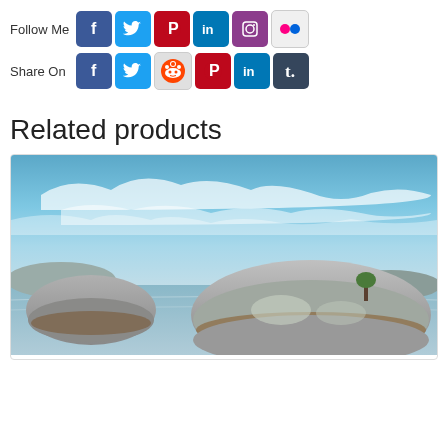[Figure (infographic): Social media follow and share buttons: Follow Me row with Facebook, Twitter, Pinterest, LinkedIn, Instagram, Flickr icons; Share On row with Facebook, Twitter, Reddit, Pinterest, LinkedIn, Tumblr icons]
Related products
[Figure (photo): Landscape photo of large granite boulders in a calm body of water with blue sky and wispy clouds]